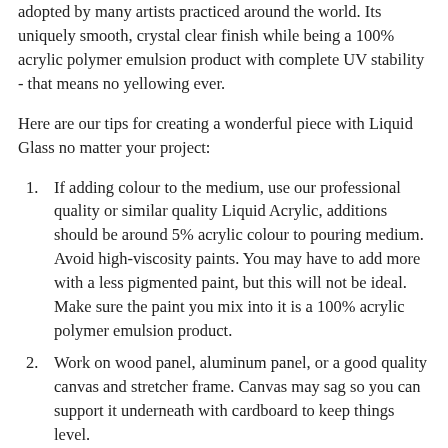adopted by many artists practiced around the world. Its uniquely smooth, crystal clear finish while being a 100% acrylic polymer emulsion product with complete UV stability - that means no yellowing ever.
Here are our tips for creating a wonderful piece with Liquid Glass no matter your project:
If adding colour to the medium, use our professional quality or similar quality Liquid Acrylic, additions should be around 5% acrylic colour to pouring medium. Avoid high-viscosity paints. You may have to add more with a less pigmented paint, but this will not be ideal. Make sure the paint you mix into it is a 100% acrylic polymer emulsion product.
Work on wood panel, aluminum panel, or a good quality canvas and stretcher frame. Canvas may sag so you can support it underneath with cardboard to keep things level.